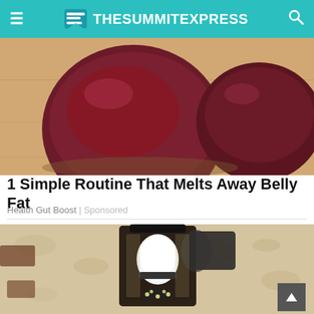TheSummitExpress
[Figure (photo): Close-up photo of dark red beets on a wooden surface]
1 Simple Routine That Melts Away Belly Fat
Health Gut Boost | Sponsored
[Figure (photo): Outdoor wall-mounted lantern light fixture containing a white security camera bulb with LED ring, mounted on a textured stucco wall]